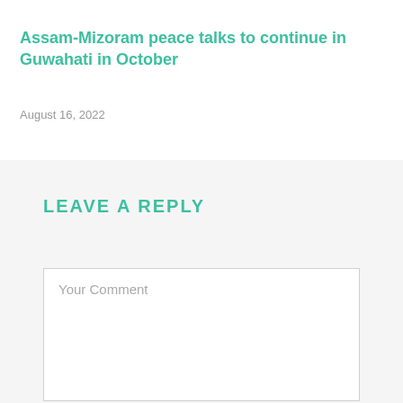Assam-Mizoram peace talks to continue in Guwahati in October
August 16, 2022
LEAVE A REPLY
Your Comment